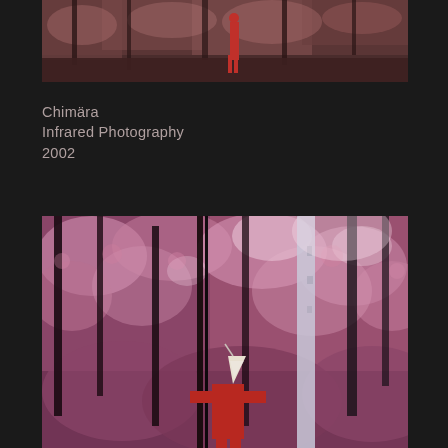[Figure (photo): Infrared photograph of a forest scene with a red-clothed figure visible in the middle distance, showing pink/magenta foliage typical of infrared film photography]
Chimära
Infrared Photography
2002
[Figure (photo): Large infrared photograph of a forest scene with tall trees and dense pink/magenta foliage. A figure wearing a white conical hat and red clothing stands in the lower center of the image, viewed from behind. The image appears to be a composite or diptych.]